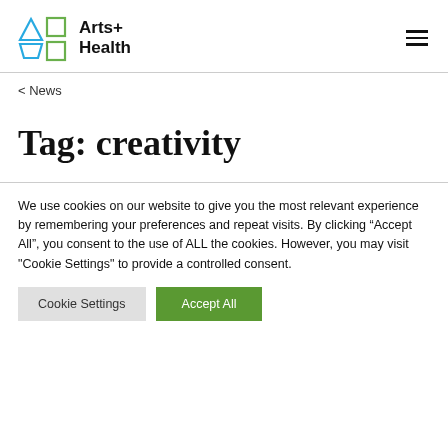Arts+ Health
< News
Tag: creativity
We use cookies on our website to give you the most relevant experience by remembering your preferences and repeat visits. By clicking “Accept All”, you consent to the use of ALL the cookies. However, you may visit "Cookie Settings" to provide a controlled consent.
Cookie Settings | Accept All